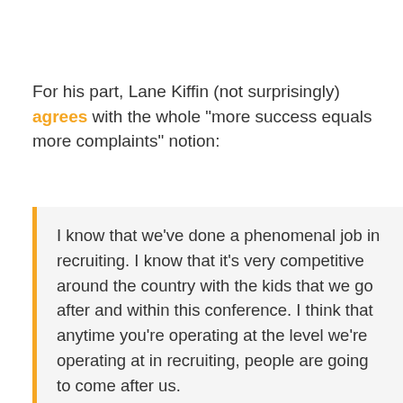For his part, Lane Kiffin (not surprisingly) agrees with the whole "more success equals more complaints" notion:
I know that we've done a phenomenal job in recruiting. I know that it's very competitive around the country with the kids that we go after and within this conference. I think that anytime you're operating at the level we're operating at in recruiting, people are going to come after us.

People are going to question what we're doing, and as head coach it's my job to make sure that we're doing everything by the rules - and we are. We're excited about the direction we're going, and people